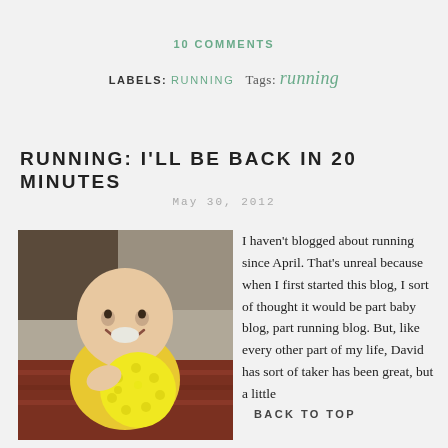10 COMMENTS
LABELS: RUNNING Tags: running
RUNNING: I'LL BE BACK IN 20 MINUTES
May 30, 2012
[Figure (photo): Baby holding a yellow spiky ball, smiling, sitting on a patterned rug]
I haven't blogged about running since April. That's unreal because when I first started this blog, I sort of thought it would be part baby blog, part running blog. But, like every other part of my life, David has sort of taker has been great, but a little
BACK TO TOP